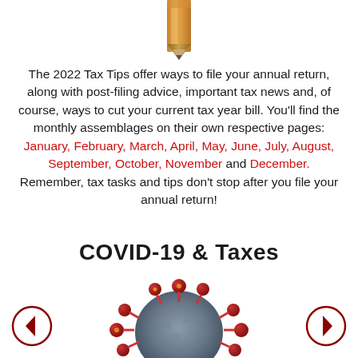[Figure (photo): Top portion of a pencil (eraser end) visible at top of page]
The 2022 Tax Tips offer ways to file your annual return, along with post-filing advice, important tax news and, of course, ways to cut your current tax year bill. You'll find the monthly assemblages on their own respective pages: January, February, March, April, May, June, July, August, September, October, November and December. Remember, tax tasks and tips don't stop after you file your annual return!
COVID-19 & Taxes
[Figure (photo): 3D illustration of COVID-19 coronavirus particle with red spike proteins on grey spherical body]